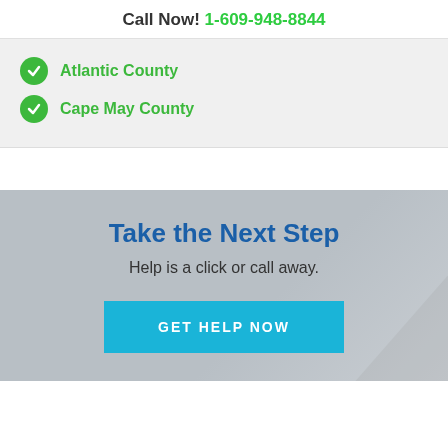Call Now! 1-609-948-8844
Atlantic County
Cape May County
Take the Next Step
Help is a click or call away.
GET HELP NOW